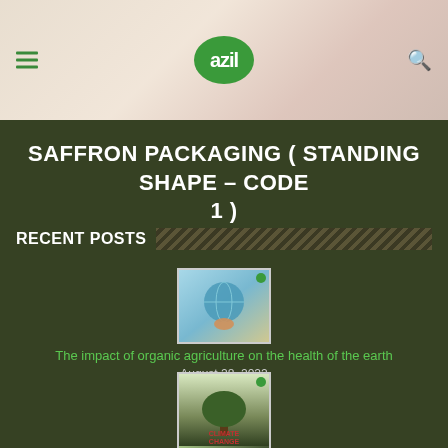azil (logo) — navigation header with hamburger menu and search icon
SAFFRON PACKAGING ( STANDING SHAPE – CODE 1 )
RECENT POSTS
[Figure (photo): Thumbnail image showing a hand holding a globe with nature/organic theme]
The impact of organic agriculture on the health of the earth
August 28, 2022
[Figure (photo): Thumbnail image showing a tree with 'CLIMATE CHANGE' text overlay]
Effect of climate change on food &